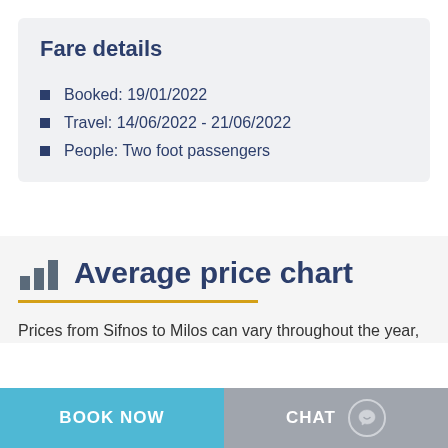Fare details
Booked: 19/01/2022
Travel: 14/06/2022 - 21/06/2022
People: Two foot passengers
Average price chart
Prices from Sifnos to Milos can vary throughout the year,